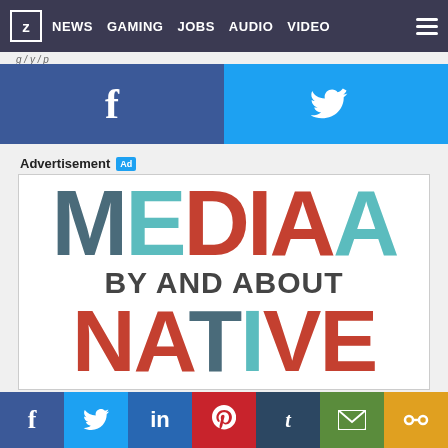z  NEWS  GAMING  JOBS  AUDIO  VIDEO
[Figure (screenshot): Social share buttons: Facebook (blue) and Twitter (cyan), large icons]
Advertisement Ad
[Figure (infographic): Advertisement graphic: MEDIA BY AND ABOUT NATIVE — colorful large text advertisement. M in dark teal, E in cyan, DIA in red/orange, A in cyan; BY AND ABOUT in dark grey; NATIVE in red/teal/cyan mix]
[Figure (screenshot): Bottom social sharing bar with Facebook, Twitter, LinkedIn, Pinterest, Tumblr, Email, and Share icons]